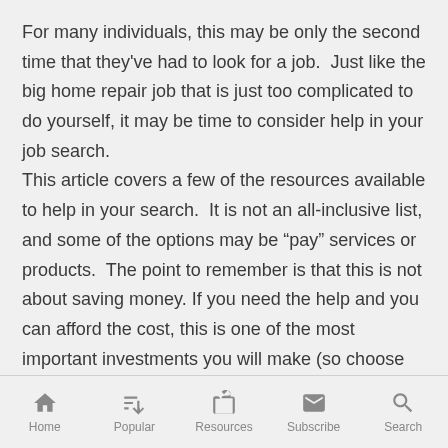For many individuals, this may be only the second time that they've had to look for a job. Just like the big home repair job that is just too complicated to do yourself, it may be time to consider help in your job search. This article covers a few of the resources available to help in your search. It is not an all-inclusive list, and some of the options may be "pay" services or products. The point to remember is that this is not about saving money. If you need the help and you can afford the cost, this is one of the most important investments you will make (so choose wisely).
Home | Popular | Resources | Subscribe | Search